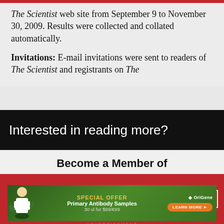The Scientist web site from September 9 to November 30, 2009. Results were collected and collated automatically.
Invitations: E-mail invitations were sent to readers of The Scientist and registrants on The
Interested in reading more?
Become a Member of
make it clearer how we use your personal data. Please read our Cookie Policy to learn how we use cookies to provide you
I UNDERSTAND
[Figure (other): OriGene advertisement banner: Special Offer Primary Antibody Samples 30 ul for $99/€99, Learn More button]
ADVERTISEMENT